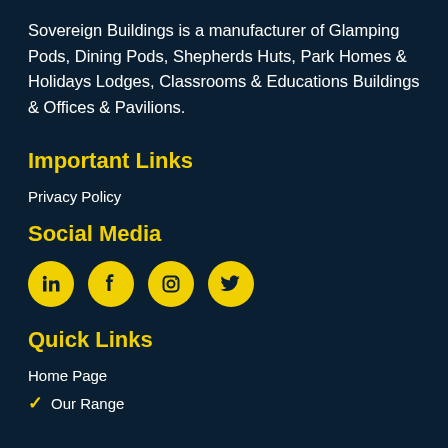Sovereign Buildings is a manufacturer of Glamping Pods, Dining Pods, Shepherds Huts, Park Homes & Holidays Lodges, Classrooms & Educations Buildings & Offices & Pavilions.
Important Links
Privacy Policy
Social Media
[Figure (infographic): Four yellow circular social media icons: LinkedIn, Facebook, Instagram, Twitter]
Quick Links
Home Page
Our Range